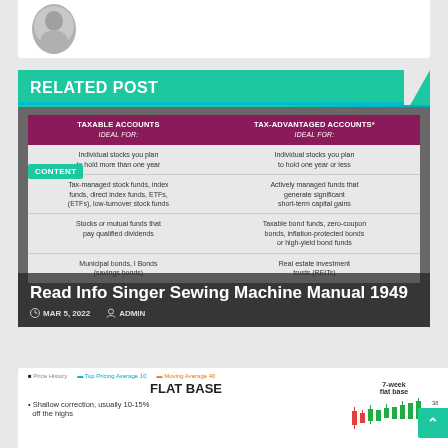[Figure (photo): Partial image of a circular portrait/coin image at top of page]
RELATED POST
[Figure (infographic): Blog post card for 'Read Info Singer Sewing Machine Manual 1949' dated MAR 5, 2022 by ADMIN, overlaid on a comparison table of Taxable Accounts vs Tax-Advantaged Accounts showing ideal investment types for each]
[Figure (infographic): FLAT BASE infographic preview with text 'Shallow correction, usually 10-15% off the highs' and a small candlestick chart showing 7-week flat base pattern]